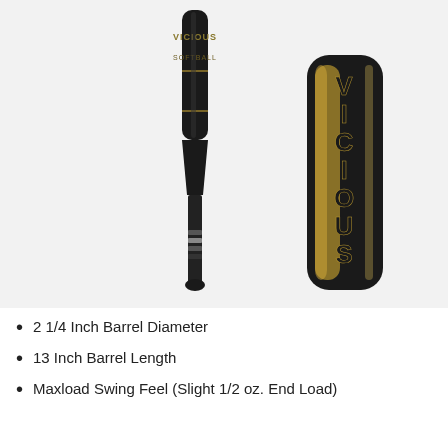[Figure (photo): Two views of a black and gold softball/baseball bat branded 'Vicious'. Left: full bat shown vertically from knob to barrel. Right: close-up of the barrel end showing 'VICIOUS' text in gold on black background.]
2 1/4 Inch Barrel Diameter
13 Inch Barrel Length
Maxload Swing Feel (Slight 1/2 oz. End Load)